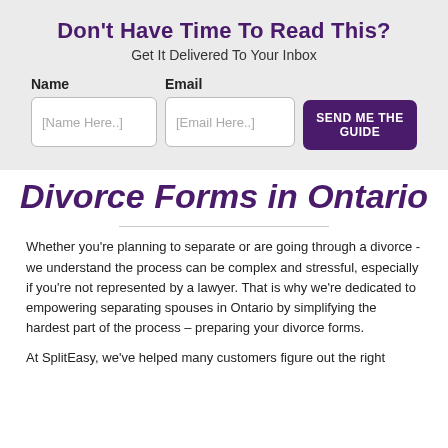Don't Have Time To Read This?
Get It Delivered To Your Inbox
[Figure (other): Email capture form with Name field, Email field, and SEND ME THE GUIDE button]
Divorce Forms in Ontario
Whether you're planning to separate or are going through a divorce - we understand the process can be complex and stressful, especially if you're not represented by a lawyer. That is why we're dedicated to empowering separating spouses in Ontario by simplifying the hardest part of the process – preparing your divorce forms.
At SplitEasy, we've helped many customers figure out the right